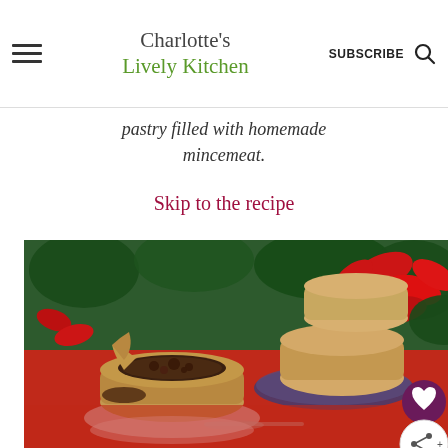Charlotte's Lively Kitchen — SUBSCRIBE (search icon)
pastry filled with homemade mincemeat.
Skip to the recipe
[Figure (photo): Photo of mince pies on a plate, one broken open to show mincemeat filling, with poinsettia flowers in the background on a red tablecloth.]